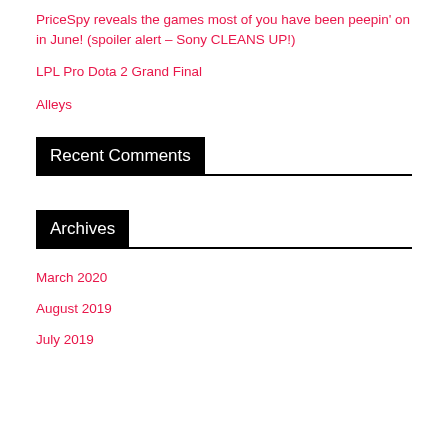PriceSpy reveals the games most of you have been peepin’ on in June! (spoiler alert – Sony CLEANS UP!)
LPL Pro Dota 2 Grand Final
Alleys
Recent Comments
Archives
March 2020
August 2019
July 2019